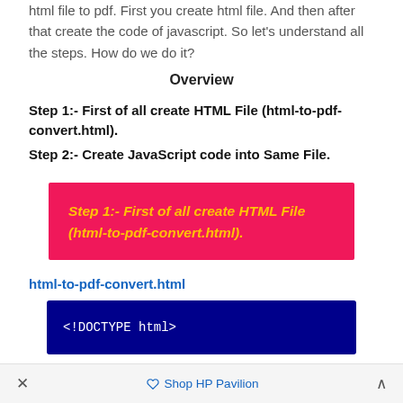html file to pdf. First you create html file. And then after that create the code of javascript. So let’s understand all the steps. How do we do it?
Overview
Step 1:- First of all create HTML File (html-to-pdf-convert.html).
Step 2:- Create JavaScript code into Same File.
[Figure (other): Pink/red box with yellow italic bold text reading: Step 1:- First of all create HTML File (html-to-pdf-convert.html).]
html-to-pdf-convert.html
[Figure (screenshot): Dark navy blue code box showing: <!DOCTYPE html>]
×   Shop HP Pavilion   ^